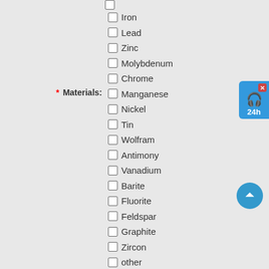Iron
Lead
Zinc
Molybdenum
Chrome
Manganese
Nickel
Tin
Wolfram
Antimony
Vanadium
Barite
Fluorite
Feldspar
Graphite
Zircon
other
* Materials:
* Capacity : As:500TPD
* Name :